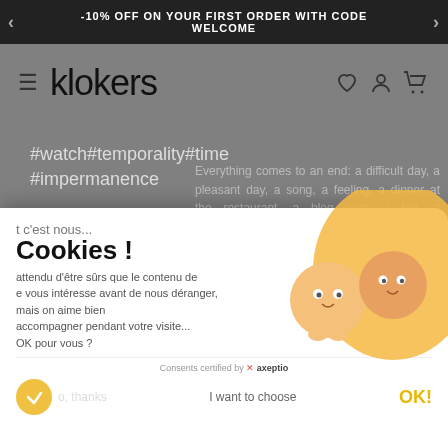-10% OFF ON YOUR FIRST ORDER WITH CODE WELCOME
klokers
#watch#temporality#time #impermanence
Everything comes to an end: a difficult day, a pleasant day, a song, a feeling, a dinner at the restaurant, a blog post, a trip, a heartache, ...
Avant de vous déranger, mais on aime bien...
...concept of Buddhism and ancient philosophy, largely covered in the arts and literature. makes a flower fade, an anger go away, a baby be born.
t c'est nous...
Cookies !
attendu d'être sûrs que le contenu de e vous intéresse avant de nous déranger, mais on aime bien accompagner pendant votre visite... OK pour vous ?
Consents certified by ✗ axeptio
o, thanks
I want to choose
OK!